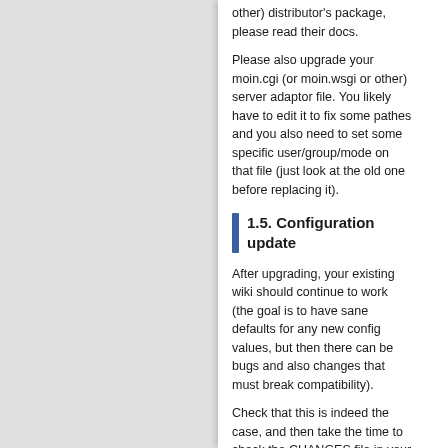other) distributor's package, please read their docs.
Please also upgrade your moin.cgi (or moin.wsgi or other) server adaptor file. You likely have to edit it to fix some pathes and you also need to set some specific user/group/mode on that file (just look at the old one before replacing it).
1.5. Configuration update
After upgrading, your existing wiki should continue to work (the goal is to have sane defaults for any new config values, but then there can be bugs and also changes that must break compatibility).
Check that this is indeed the case, and then take the time to check the CHANGES file in your distribution archive. Often, new features will be invisible unless you extend your configuration in wikiconfig.py.